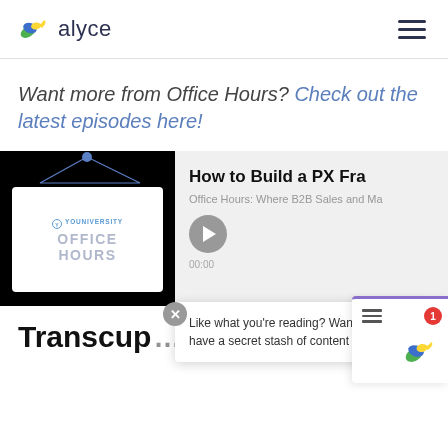[Figure (logo): Alyce logo: colorful bird/leaf icon followed by the text 'alyce' in dark blue]
Want more from Office Hours? Check out the latest episodes here!
[Figure (screenshot): Podcast card showing Youniversity Office Hours thumbnail with 'How to Build a PX Fra...' title, 'Office Hours: Where B2B Sales and Ma...' subtitle, play button and 00:00 timestamp]
Like what you're reading? Want more? We have a secret stash of content for you 🔒
Transcript...